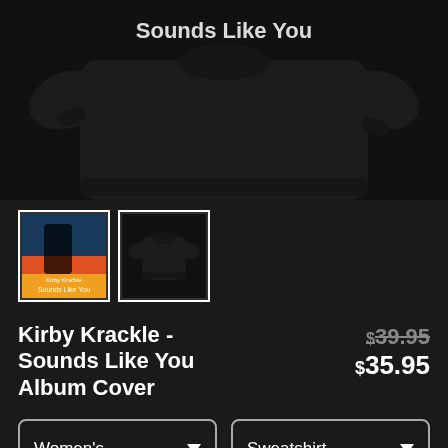[Figure (photo): Black women's sweatshirt with white graphic text on dark background shown from front, partially cropped at top]
[Figure (photo): Thumbnail 1: colorful album cover art with figure and text 'Sounds Like You']
[Figure (photo): Thumbnail 2: black sweatshirt on dark background smaller view]
Kirby Krackle - Sounds Like You Album Cover
$39.95 $35.95
Women's
Sweatshirt
SELECT YOUR FIT